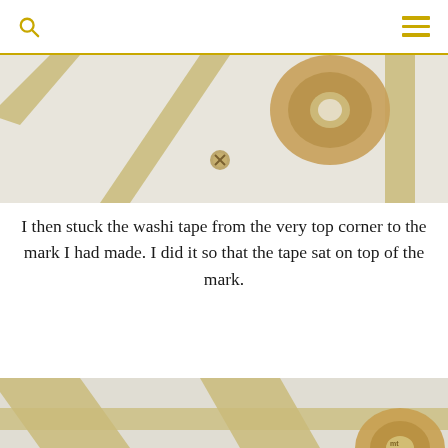[Figure (photo): Close-up photo of a white surface with diagonal golden/tan washi tape strips and a roll of brown packing tape with a small screw visible in the center.]
I then stuck the washi tape from the very top corner to the mark I had made. I did it so that the tape sat on top of the mark.
[Figure (photo): Close-up photo of a white wall or surface with diagonal and horizontal strips of golden/tan washi tape crossing each other, with a roll of washi tape visible at the bottom right.]